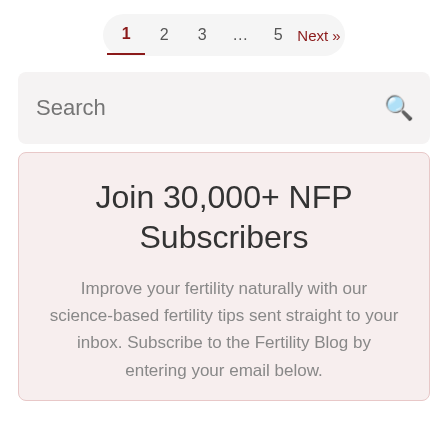Pagination: 1 2 3 ... 5 Next »
Search
Join 30,000+ NFP Subscribers
Improve your fertility naturally with our science-based fertility tips sent straight to your inbox. Subscribe to the Fertility Blog by entering your email below.